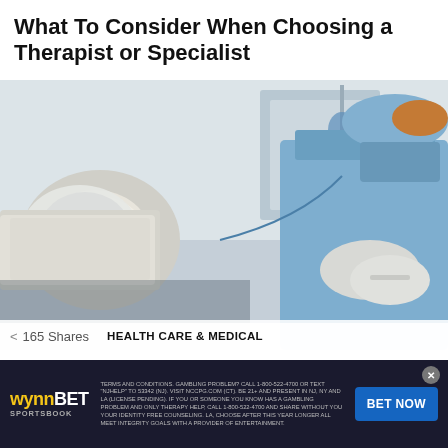What To Consider When Choosing a Therapist or Specialist
[Figure (photo): Medical professionals in surgical gowns and gloves working with medical equipment, IV drip visible in background]
165 Shares  HEALTH CARE & MEDICAL
What Food Do Doctors Recommend After
[Figure (infographic): WynnBet Sportsbook advertisement banner with terms and conditions text and BET NOW button]